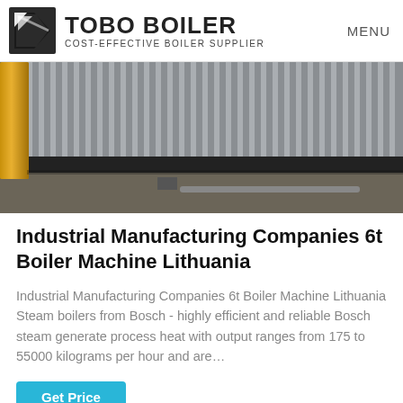TOBO BOILER COST-EFFECTIVE BOILER SUPPLIER | MENU
[Figure (photo): Industrial boiler machinery with corrugated metal panels, photographed in a factory/warehouse setting]
Industrial Manufacturing Companies 6t Boiler Machine Lithuania
Industrial Manufacturing Companies 6t Boiler Machine Lithuania Steam boilers from Bosch - highly efficient and reliable Bosch steam generate process heat with output ranges from 175 to 55000 kilograms per hour and are…
Get Price